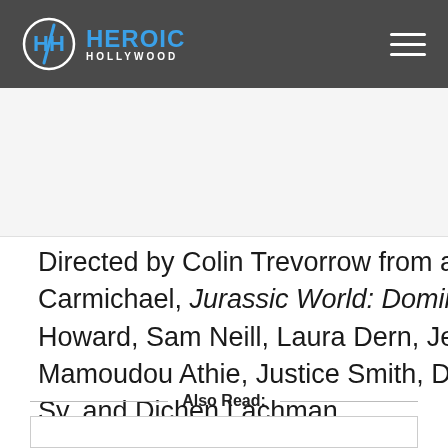Heroic Hollywood
[Figure (other): Advertisement or image placeholder area below header]
Directed by Colin Trevorrow from a script he co-wrote with Emily Carmichael, Jurassic World: Dominion stars Chris Pratt, Bryce Dallas Howard, Sam Neill, Laura Dern, Jeff Goldblum, DeWanda Wise, Mamoudou Athie, Justice Smith, Daniella Pineda, Jake Johnson, Omar Sy, and Dichen Lachman.
Also Read: